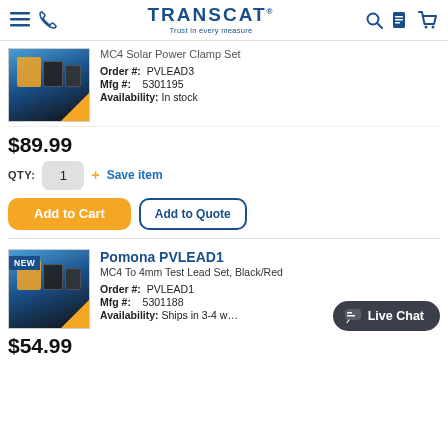TRANSCAT — Trust in every measure
MC4 Solar Power Clamp Set
Order #: PVLEAD3
Mfg #: 5301195
Availability: In stock
$89.99
QTY: 1  + Save item
Add to Cart   Add to Quote
Pomona PVLEAD1
MC4 To 4mm Test Lead Set, Black/Red
Order #: PVLEAD1
Mfg #: 5301188
Availability: Ships in 3-4 w…
$54.99
Live Chat